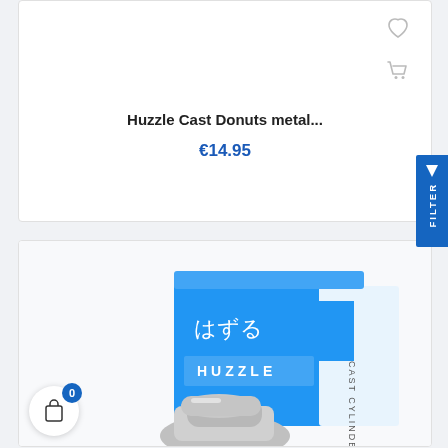Huzzle Cast Donuts metal...
€14.95
[Figure (photo): Product photo of Huzzle Cast Cylinder puzzle box with Japanese text はずる and HUZZLE branding on blue and white packaging, with metallic puzzle piece visible at bottom]
FILTER
0